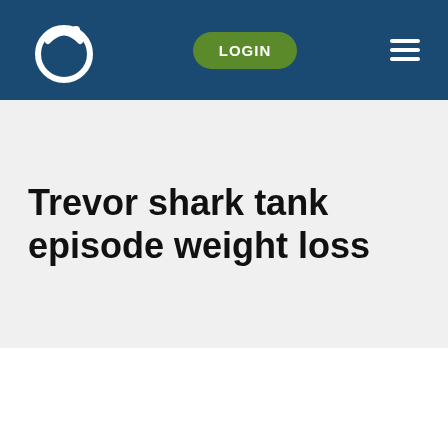LOGIN
Trevor shark tank episode weight loss